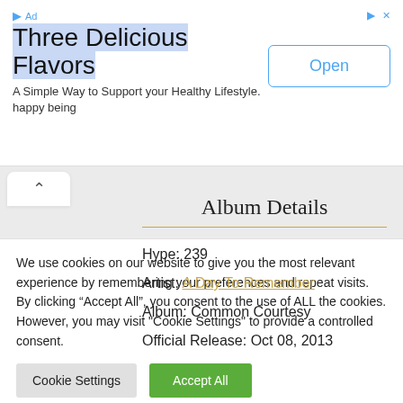[Figure (screenshot): Advertisement banner: 'Three Delicious Flavors' with Open button, subtitle 'A Simple Way to Support your Healthy Lifestyle. happy being']
Album Details
Hype: 239
Artist: A Day To Remember
Album: Common Courtesy
Official Release: Oct 08, 2013
We use cookies on our website to give you the most relevant experience by remembering your preferences and repeat visits. By clicking “Accept All”, you consent to the use of ALL the cookies. However, you may visit "Cookie Settings" to provide a controlled consent.
Cookie Settings
Accept All